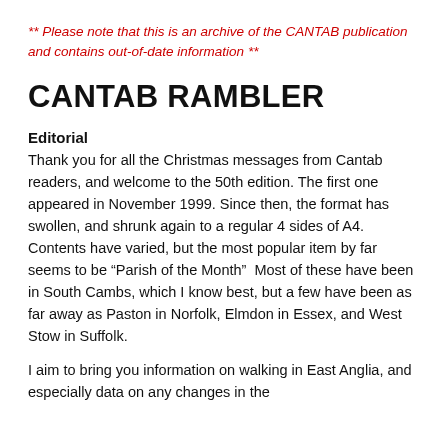** Please note that this is an archive of the CANTAB publication and contains out-of-date information **
CANTAB RAMBLER
Editorial
Thank you for all the Christmas messages from Cantab readers, and welcome to the 50th edition. The first one appeared in November 1999. Since then, the format has swollen, and shrunk again to a regular 4 sides of A4. Contents have varied, but the most popular item by far seems to be “Parish of the Month”  Most of these have been in South Cambs, which I know best, but a few have been as far away as Paston in Norfolk, Elmdon in Essex, and West Stow in Suffolk.
I aim to bring you information on walking in East Anglia, and especially data on any changes in the